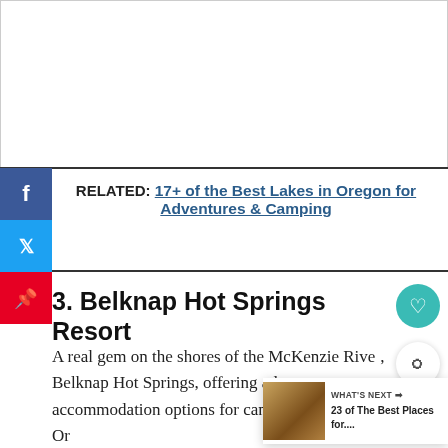[Figure (other): White rectangular placeholder area at top of page]
RELATED: 17+ of the Best Lakes in Oregon for Adventures & Camping
3. Belknap Hot Springs Resort
A real gem on the shores of the McKenzie River, Belknap Hot Springs, offering a large range of accommodation options for camping near Eugene, Oregon. From the six-person cabins to